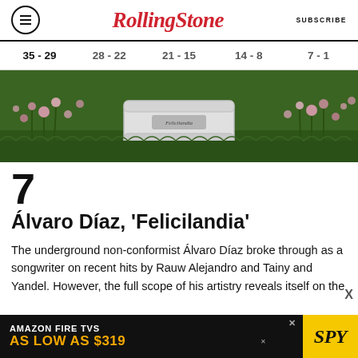Rolling Stone | SUBSCRIBE
35 - 29   28 - 22   21 - 15   14 - 8   7 - 1
[Figure (photo): Hero image showing a white cylindrical cake or drum with a logo on it, surrounded by pink flowers and green grass]
7
Álvaro Díaz, 'Felicilandia'
The underground non-conformist Álvaro Díaz broke through as a songwriter on recent hits by Rauw Alejandro and Tainy and Yandel. However, the full scope of his artistry reveals itself on the
[Figure (infographic): Amazon Fire TVs advertisement — AS LOW AS $319, SPY logo on yellow background]